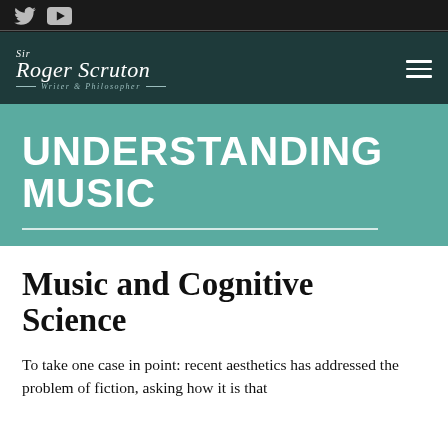[Figure (logo): Social media icons bar with Twitter bird icon and YouTube play icon on dark background]
Sir Roger Scruton — Writer & Philosopher
UNDERSTANDING MUSIC
Music and Cognitive Science
To take one case in point: recent aesthetics has addressed the problem of fiction, asking how it is that